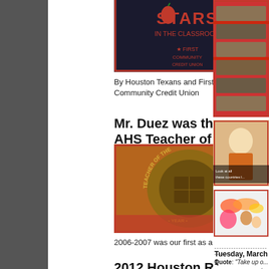[Figure (photo): Stars in the Classroom logo with Houston Texans and First Community Credit Union branding]
By Houston Texans and First Community Credit Union
Mr. Duez was the 2007 AHS Teacher of the Year
[Figure (photo): Teacher of the Year ring with engraving showing TEACHER OF THE YEAR and NOON]
2006-2007 was our first as a school.
2012 Houston Rockets Teacher of the Game
[Figure (photo): Collage of ship models displayed on red background]
[Figure (photo): Elderly woman with text overlay: Look at all these countries I...]
[Figure (map): World map showing countries highlighted in orange/pink/red]
-------------------------------------------
Tuesday, March 1
Quote: "Take up o... nerves, every part"